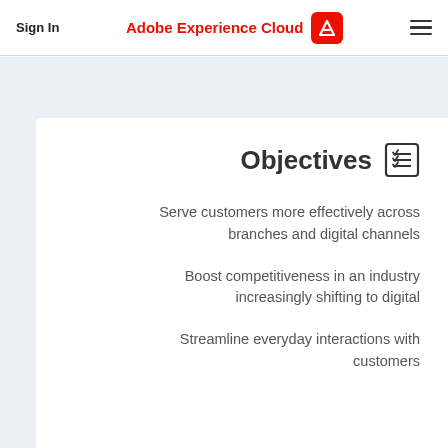Sign In | Adobe Experience Cloud | menu
Objectives
Serve customers more effectively across branches and digital channels
Boost competitiveness in an industry increasingly shifting to digital
Streamline everyday interactions with customers